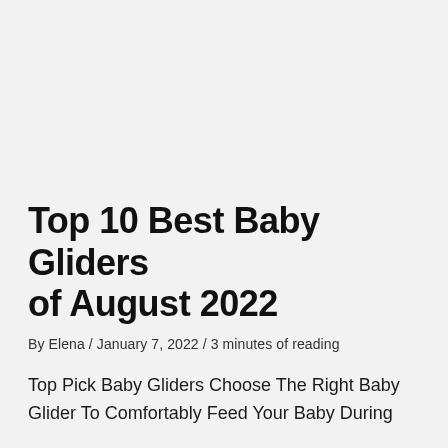Top 10 Best Baby Gliders of August 2022
By Elena / January 7, 2022 / 3 minutes of reading
Top Pick Baby Gliders Choose The Right Baby Glider To Comfortably Feed Your Baby During